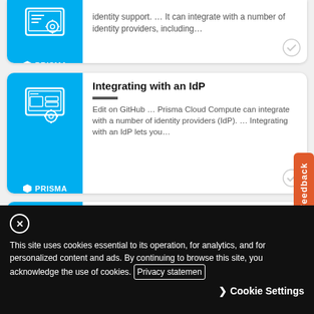[Figure (screenshot): Prisma Cloud search result card with document/settings icon and Prisma logo on cyan background, partially visible at top]
identity support. … It can integrate with a number of identity providers, including…
[Figure (screenshot): Prisma Cloud search result card - Integrating with an IdP]
Integrating with an IdP
Edit on GitHub … Prisma Cloud Compute can integrate with a number of identity providers (IdP). … Integrating with an IdP lets you…
[Figure (screenshot): Prisma Cloud search result card - Integrate with Azure Active Directory via SAML 2.0…]
Integrate with Azure Active Directory via SAML 2.0…
Many organizations use SAML to authenticate users for web services…
This site uses cookies essential to its operation, for analytics, and for personalized content and ads. By continuing to browse this site, you acknowledge the use of cookies. Privacy statemen Cookie Settings